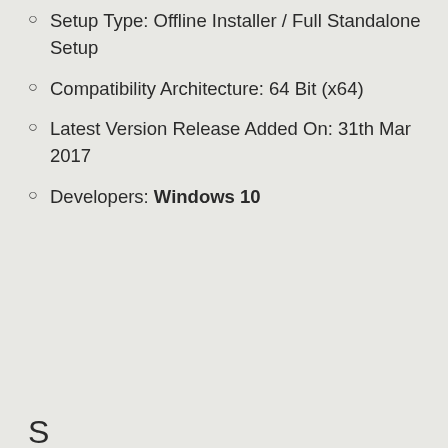Setup Type: Offline Installer / Full Standalone Setup
Compatibility Architecture: 64 Bit (x64)
Latest Version Release Added On: 31th Mar 2017
Developers: Windows 10